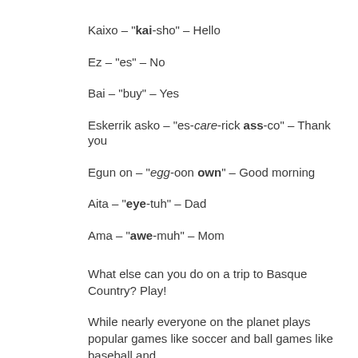Kaixo – "kai-sho" – Hello
Ez – "es" – No
Bai – "buy" – Yes
Eskerrik asko – "es-care-rick ass-co" – Thank you
Egun on – "egg-oon own" – Good morning
Aita – "eye-tuh" – Dad
Ama – "awe-muh" – Mom
What else can you do on a trip to Basque Country? Play!
While nearly everyone on the planet plays popular games like soccer and ball games like baseball and